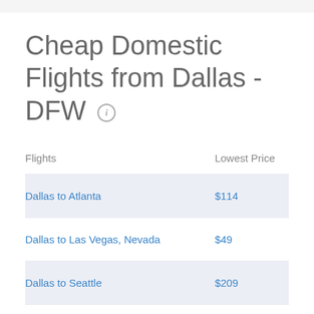Cheap Domestic Flights from Dallas - DFW
| Flights | Lowest Price |
| --- | --- |
| Dallas to Atlanta | $114 |
| Dallas to Las Vegas, Nevada | $49 |
| Dallas to Seattle | $209 |
| Dallas to Los Angeles, California | $179 |